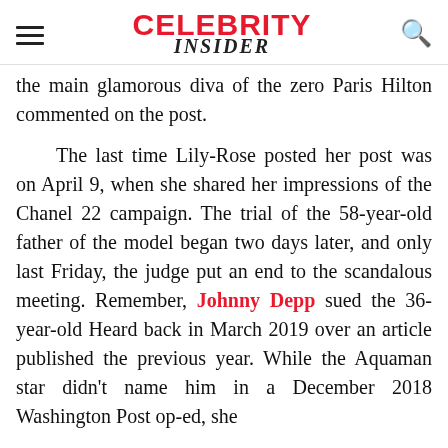CELEBRITY INSIDER
the main glamorous diva of the zero Paris Hilton commented on the post.
The last time Lily-Rose posted her post was on April 9, when she shared her impressions of the Chanel 22 campaign. The trial of the 58-year-old father of the model began two days later, and only last Friday, the judge put an end to the scandalous meeting. Remember, Johnny Depp sued the 36-year-old Heard back in March 2019 over an article published the previous year. While the Aquaman star didn't name him in a December 2018 Washington Post op-ed, she